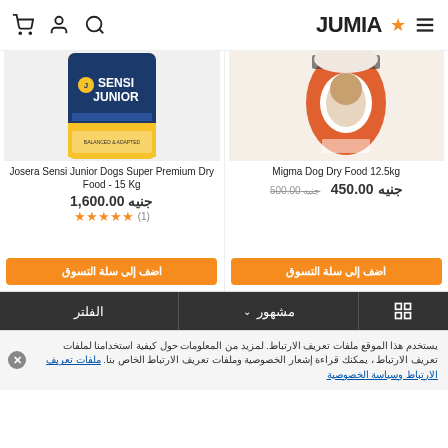JUMIA
[Figure (photo): Josera Sensi Junior dog food bag - blue and yellow packaging]
Josera Sensi Junior Dogs Super Premium Dry Food - 15 Kg
جنيه 1,600.00
(1) ★★★★★
اضف إلى سلة التسوق
[Figure (photo): Migma Adult Dogs Balanced dry food bag - orange and white packaging]
Migma Dog Dry Food 12.5kg
جنيه 450.00  جنيه 500.00
اضف إلى سلة التسوق
الفلتر | مشهور
يستخدم هذا الموقع ملفات تعريف الارتباط. لمزيد من المعلومات حول كيفية استخدامنا لملفات تعريف الارتباط ، يمكنك قراءة إشعار الخصوصية وملفات تعريف الارتباط الخاص بنا. ملفات تعريف الارتباط وسياسة الخصوصية